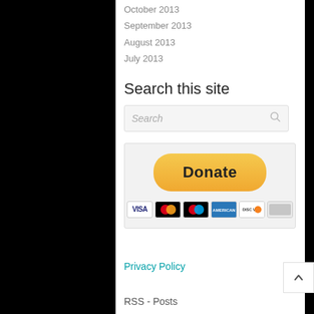October 2013
September 2013
August 2013
July 2013
Search this site
[Figure (screenshot): Search input box with placeholder text 'Search' and a magnifying glass icon]
[Figure (infographic): PayPal Donate button with payment card logos: VISA, Mastercard, Mastercard (Maestro), American Express, Discover, and another card]
Privacy Policy
RSS - Posts